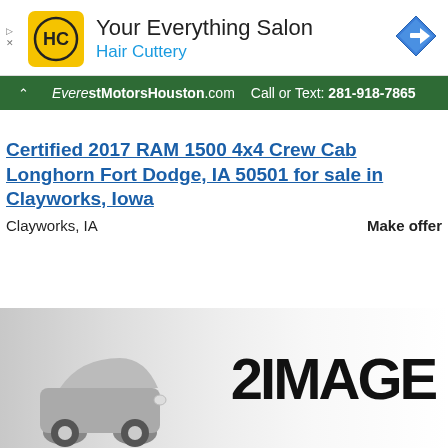[Figure (logo): Hair Cuttery advertisement banner with HC logo on yellow background, tagline 'Your Everything Salon', blue navigation icon on right]
EverestMotorsHouston.com  Call or Text: 281-918-7865
Certified 2017 RAM 1500 4x4 Crew Cab Longhorn Fort Dodge, IA 50501 for sale in Clayworks, Iowa
Clayworks, IA    Make offer
[Figure (photo): Partial car image with '2IMAGE' text watermark overlay, showing front end of vehicle]